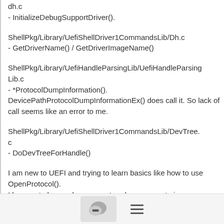dh.c
- InitializeDebugSupportDriver().
ShellPkg/Library/UefiShellDriver1CommandsLib/Dh.c
- GetDriverName() / GetDriverImageName()
ShellPkg/Library/UefiHandleParsingLib/UefiHandleParsingLib.c
- *ProtocolDumpInformation(). DevicePathProtocolDumpInformationEx() does call it. So lack of call seems like an error to me.
ShellPkg/Library/UefiShellDriver1CommandsLib/DevTree.c
- DoDevTreeForHandle()
I am new to UEFI and trying to learn basics like how to use OpenProtocol().
I have not observed or encountered any concrete issue.
[Figure (other): Bottom navigation bar with chat bubble icon button and hamburger menu icon]